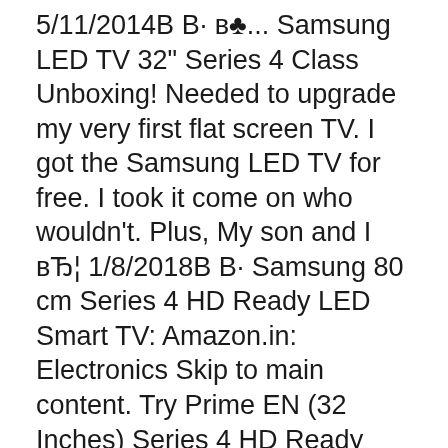5/11/2014В В· в™Ј... Samsung LED TV 32" Series 4 Class Unboxing! Needed to upgrade my very first flat screen TV. I got the Samsung LED TV for free. I took it come on who wouldn't. Plus, My son and I вЂ¦ 1/8/2018В В· Samsung 80 cm Series 4 HD Ready LED Smart TV: Amazon.in: Electronics Skip to main content. Try Prime EN (32 Inches) Series 4 HD Ready LED Smart TV UA32N4300AR 1 LED TV, 1 Table Top Stand, 1 Wall Mount Bracket, 1 User Manual, 1 Warranty Card, 1 Remote Control, 1 Power Cable / Power Supply Adopter:
EncontrГЎ Fuente Lcd Bn44 00472b Bn44 00472a Samsung Serie 4 4003 32